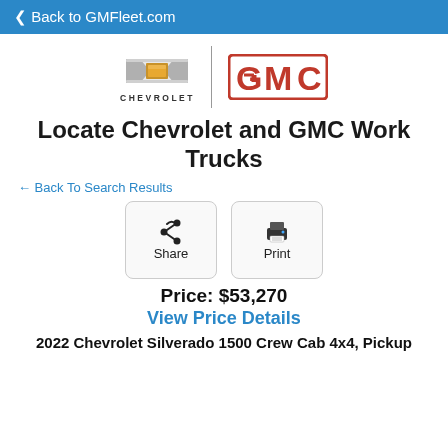Back to GMFleet.com
[Figure (logo): Chevrolet bowtie logo and GMC logo side by side with a vertical divider line. CHEVROLET text below the bowtie.]
Locate Chevrolet and GMC Work Trucks
← Back To Search Results
[Figure (infographic): Two buttons: Share (with share icon) and Print (with printer icon)]
Price: $53,270
View Price Details
2022 Chevrolet Silverado 1500 Crew Cab 4x4, Pickup